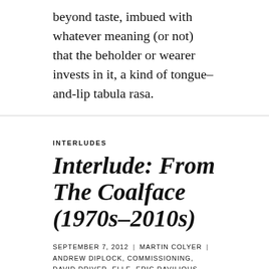beyond taste, imbued with whatever meaning (or not) that the beholder or wearer invests in it, a kind of tongue–and-lip tabula rasa.
INTERLUDES
Interlude: From The Coalface (1970s–2010s)
SEPTEMBER 7, 2012 | MARTIN COLYER | ANDREW DIPLOCK, COMMISSIONING, DAVID DRIVER, ELLE, ERIC RAVILIOUS, FINNIE FINN, MARISSA BOURKE, MICHAEL RAND, MIKE DEMPSEY, PAUL SLATER, PETER BROOKES, RADIO